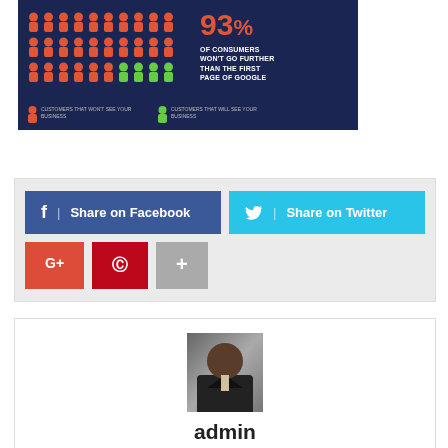[Figure (infographic): Infographic on dark navy background showing person icons (mostly red, a few green) illustrating that 93% of consumers won't go further than the first page of Google. Legend: red icons = customers that won't see your business; green icons = customers that will see your business.]
[Figure (infographic): Social sharing buttons: Share on Facebook (dark blue), Share on Twitter (light blue), Google+ (red), Pinterest (dark red), More (+) (grey)]
[Figure (photo): Author profile photo of a man in a suit, centered in the author box]
admin